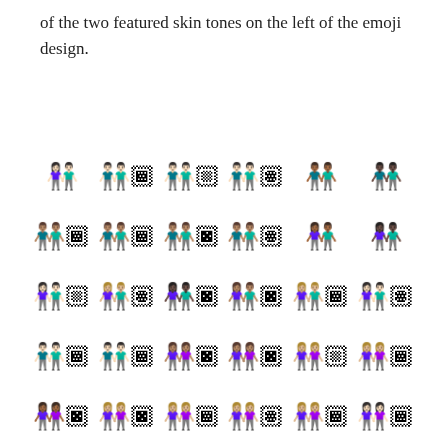of the two featured skin tones on the left of the emoji design.
[Figure (illustration): A 5-row by 6-column grid of emoji pairs showing two people holding hands, with various skin tone combinations. Rows show different gender combinations (men, men+women, women) and different shirt colors (green, orange, purple). Each pair shows two figures with varying skin tones.]